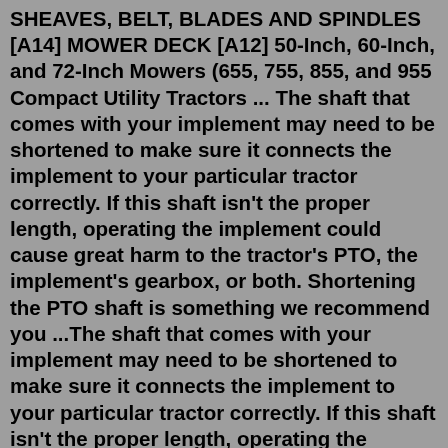SHEAVES, BELT, BLADES AND SPINDLES [A14] MOWER DECK [A12] 50-Inch, 60-Inch, and 72-Inch Mowers (655, 755, 855, and 955 Compact Utility Tractors ... The shaft that comes with your implement may need to be shortened to make sure it connects the implement to your particular tractor correctly. If this shaft isn't the proper length, operating the implement could cause great harm to the tractor's PTO, the implement's gearbox, or both. Shortening the PTO shaft is something we recommend you ...The shaft that comes with your implement may need to be shortened to make sure it connects the implement to your particular tractor correctly. If this shaft isn't the proper length, operating the implement could cause great harm to the tractor's PTO, the implement's gearbox, or both. Shortening the PTO shaft is something we recommend you ...PTO is a device for transferring power from a tractor's engine to an implement or machine that lacks an engine. Without the PTO, farmers can't use tractor's power to run implements like the harvester, mower, and more ...